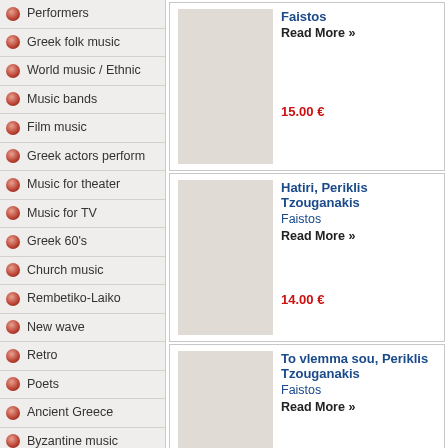Performers
Greek folk music
World music / Ethnic
Music bands
Film music
Greek actors perform
Music for theater
Music for TV
Greek 60's
Church music
Rembetiko-Laiko
New wave
Retro
Poets
Ancient Greece
Byzantine music
Classical music
Greek classical
Faistos
Read More »
15.00 €
Hatiri, Periklis Tzouganakis
Faistos
Read More »
14.00 €
To vlemma sou, Periklis Tzouganakis
Faistos
Read More »